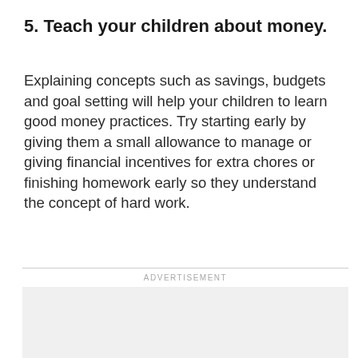5. Teach your children about money.
Explaining concepts such as savings, budgets and goal setting will help your children to learn good money practices. Try starting early by giving them a small allowance to manage or giving financial incentives for extra chores or finishing homework early so they understand the concept of hard work.
ADVERTISEMENT